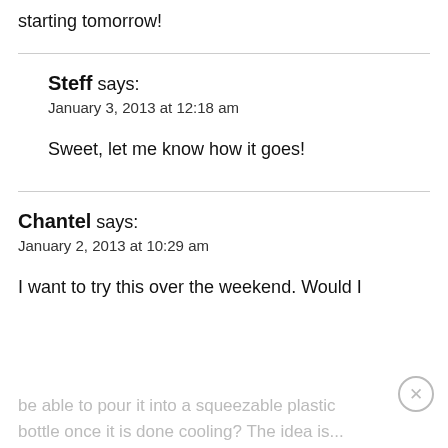starting tomorrow!
Steff says:
January 3, 2013 at 12:18 am
Sweet, let me know how it goes!
Chantel says:
January 2, 2013 at 10:29 am
I want to try this over the weekend. Would I be able to pour it into a squeezable plastic bottle once it is done cooling? The idea is...